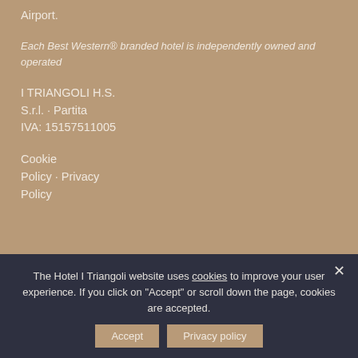Airport.
Each Best Western® branded hotel is independently owned and operated
I TRIANGOLI H.S. S.r.l. · Partita IVA: 15157511005
Cookie Policy · Privacy Policy
The Hotel I Triangoli website uses cookies to improve your user experience. If you click on "Accept" or scroll down the page, cookies are accepted.
Accept
Privacy policy